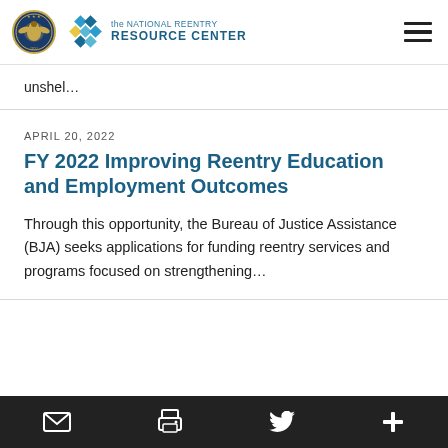the NATIONAL REENTRY RESOURCE CENTER
unshel...
APRIL 20, 2022
FY 2022 Improving Reentry Education and Employment Outcomes
Through this opportunity, the Bureau of Justice Assistance (BJA) seeks applications for funding reentry services and programs focused on strengthening...
Email | Print | Twitter | More